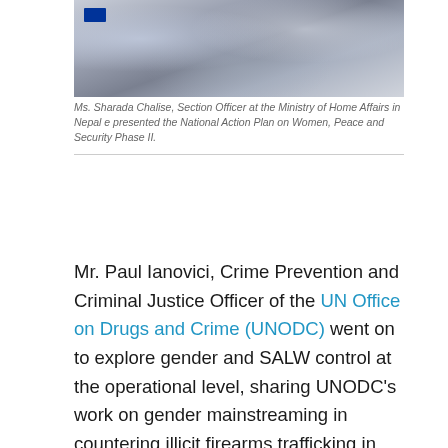[Figure (photo): Photo showing envelopes or packages on a wooden surface, with an EU badge visible in the upper left corner.]
Ms. Sharada Chalise, Section Officer at the Ministry of Home Affairs in Nepal e presented the National Action Plan on Women, Peace and Security Phase II.
Mr. Paul Ianovici, Crime Prevention and Criminal Justice Officer of the UN Office on Drugs and Crime (UNODC) went on to explore gender and SALW control at the operational level, sharing UNODC’s work on gender mainstreaming in countering illicit firearms trafficking in the region. He highlighted that illicit trafficking impacts the lives of women, girls, man and boys in different ways. In addition, he said, women and men play different roles in illicit trafficking, based on